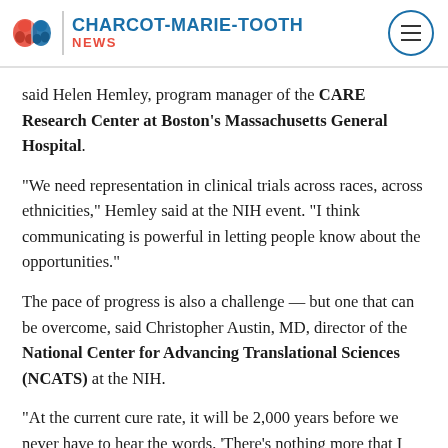CHARCOT-MARIE-TOOTH NEWS
said Helen Hemley, program manager of the CARE Research Center at Boston's Massachusetts General Hospital.
“We need representation in clinical trials across races, across ethnicities,” Hemley said at the NIH event. “I think communicating is powerful in letting people know about the opportunities.”
The pace of progress is also a challenge — but one that can be overcome, said Christopher Austin, MD, director of the National Center for Advancing Translational Sciences (NCATS) at the NIH.
“At the current cure rate, it will be 2,000 years before we never have to hear the words, ‘There’s nothing more that I can do for you.’ That doesn’t have to be an acceptable answer,” he said.